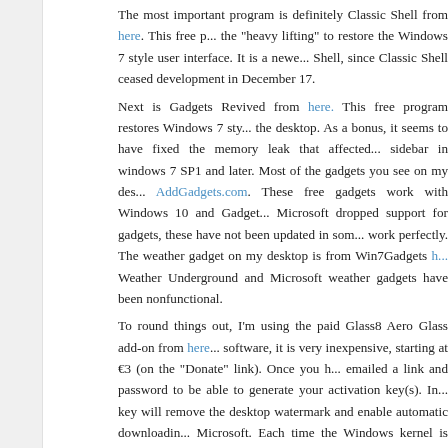The most important program is definitely Classic Shell from here. This free program does the "heavy lifting" to restore the Windows 7 style user interface. It is a newer fork of Classic Shell, since Classic Shell ceased development in December 17.
Next is Gadgets Revived from here. This free program restores Windows 7 style gadgets to the desktop. As a bonus, it seems to have fixed the memory leak that affected the Windows 7 sidebar in windows 7 SP1 and later. Most of the gadgets you see on my desktop are from AddGadgets.com. These free gadgets work with Windows 10 and Gadgets Revived. Since Microsoft dropped support for gadgets, these have not been updated in some time, but they work perfectly. The weather gadget on my desktop is from Win7Gadgets here. The Weather Underground and Microsoft weather gadgets have been nonfunctional.
To round things out, I'm using the paid Glass8 Aero Glass add-on from here. For shareware software, it is very inexpensive, starting at €3 (on the "Donate" link). Once you have paid, you are emailed a link and password to be able to generate your activation key(s). In addition the key will remove the desktop watermark and enable automatic downloading of updates from Microsoft. Each time the Windows kernel is rebuilt by Microsoft, the location of the hooks that the add-on uses to hook into the display manager and it needs to fetch the updates from Microsoft. It's very technical inside, but is very easy to use. You will probably also want to get the GUI for adjusting Aero Glass settings from here.
Posted in Computers | No Comments »
New WiFi for old laptops – the ALFA Network AWPCI
April 5th, 2021
One of the issues when trying to use an older laptop (such as my Dell Studio...